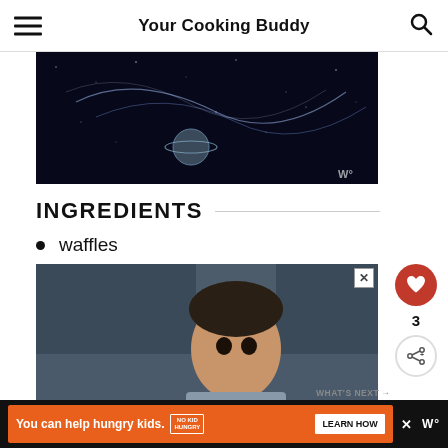Your Cooking Buddy
[Figure (photo): Dark space/night sky advertisement image with swirling light trails and a planet, with a 'W°' watermark in the bottom-right corner]
INGREDIENTS
waffles
[Figure (photo): Advertisement photo of a young boy eating, with 'You can help' text overlay and a close (X) button in the top-right corner]
WHAT'S NEXT → How to Freeze Butternut...
You can help hungry kids. NO KID HUNGRY LEARN HOW